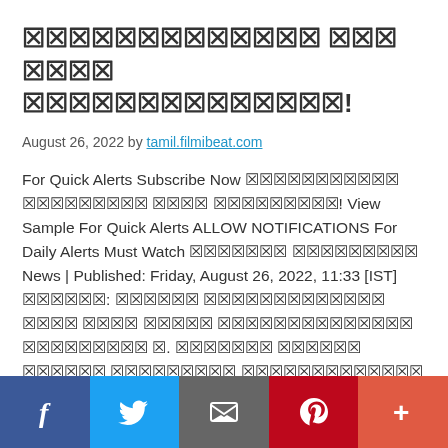☒☒☒☒☒☒☒☒☒☒☒☒☒ ☒☒☒ ☒☒☒☒ ☒☒☒☒☒☒☒☒☒☒☒☒☒☒!
August 26, 2022 by tamil.filmibeat.com
For Quick Alerts Subscribe Now ☒☒☒☒☒☒☒☒☒☒☒ ☒☒☒☒☒☒☒☒☒ ☒☒☒☒ ☒☒☒☒☒☒☒☒☒! View Sample For Quick Alerts ALLOW NOTIFICATIONS For Daily Alerts Must Watch ☒☒☒☒☒☒☒ ☒☒☒☒☒☒☒☒☒ News | Published: Friday, August 26, 2022, 11:33 [IST] ☒☒☒☒☒☒: ☒☒☒☒☒☒ ☒☒☒☒☒☒☒☒☒☒☒☒☒ ☒☒☒☒ ☒☒☒☒ ☒☒☒☒☒ ☒☒☒☒☒☒☒☒☒☒☒☒☒☒ ☒☒☒☒☒☒☒☒☒ ☒. ☒☒☒☒☒☒☒ ☒☒☒☒☒☒ ☒☒☒☒☒☒ ☒☒☒☒☒☒☒☒☒ ☒☒☒☒☒☒☒☒☒☒☒☒☒ ☒☒☒☒☒☒☒ ☒☒☒☒☒☒.